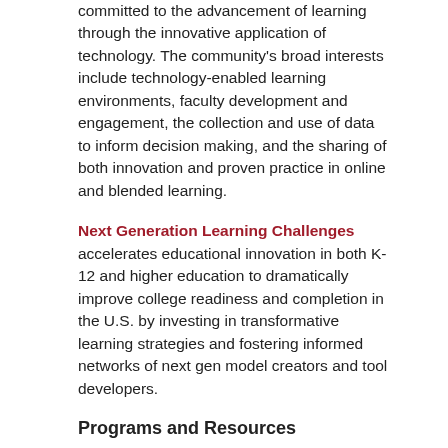committed to the advancement of learning through the innovative application of technology. The community's broad interests include technology-enabled learning environments, faculty development and engagement, the collection and use of data to inform decision making, and the sharing of both innovation and proven practice in online and blended learning.
Next Generation Learning Challenges accelerates educational innovation in both K-12 and higher education to dramatically improve college readiness and completion in the U.S. by investing in transformative learning strategies and fostering informed networks of next gen model creators and tool developers.
Programs and Resources
[Figure (logo): ELI logo — teal background with white text 'ELI' and grey chevron/arrow shape]
7 Things You Should Know About ...
Short overviews of key emerging technologies and